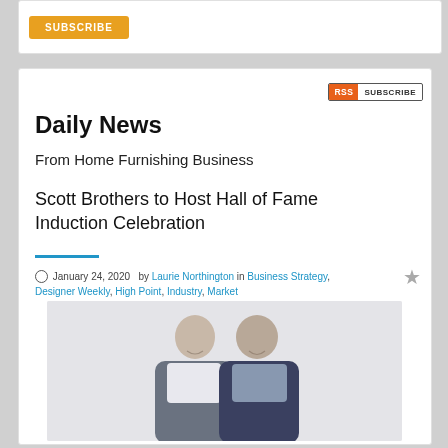[Figure (other): Subscribe button (orange) in white card at top]
Daily News
From Home Furnishing Business
Scott Brothers to Host Hall of Fame Induction Celebration
January 24, 2020  by Laurie Northington in Business Strategy, Designer Weekly, High Point, Industry, Market
[Figure (photo): Photo of two men (Scott Brothers) standing side by side, wearing blazers, light gray background]